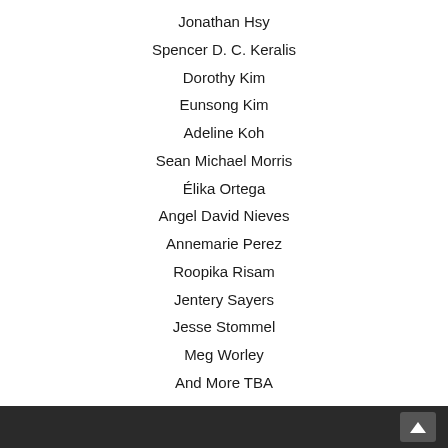Jonathan Hsy
Spencer D. C. Keralis
Dorothy Kim
Eunsong Kim
Adeline Koh
Sean Michael Morris
Élika Ortega
Angel David Nieves
Annemarie Perez
Roopika Risam
Jentery Sayers
Jesse Stommel
Meg Worley
And More TBA